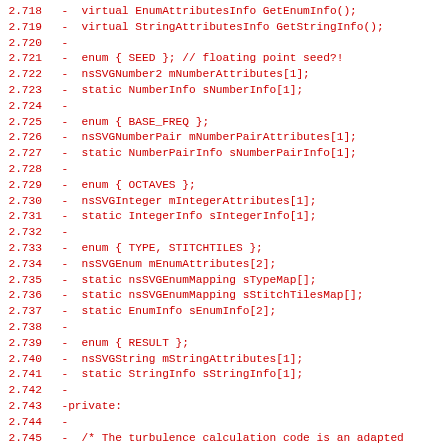Code diff snippet showing lines 2.718–2.749 of SVG filter turbulence implementation in C++